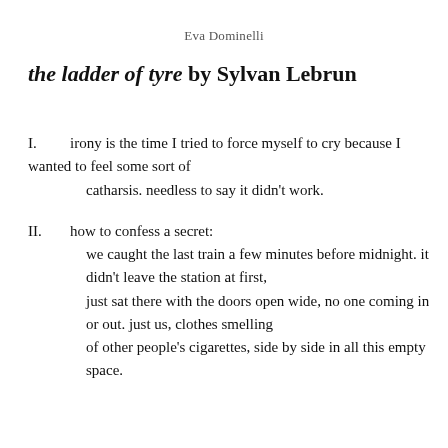Eva Dominelli
the ladder of tyre by Sylvan Lebrun
I.	irony is the time I tried to force myself to cry because I wanted to feel some sort of
		catharsis. needless to say it didn’t work.
II.	how to confess a secret:
		we caught the last train a few minutes before midnight. it didn’t leave the station at first,
		just sat there with the doors open wide, no one coming in or out. just us, clothes smelling
		of other people’s cigarettes, side by side in all this empty space.